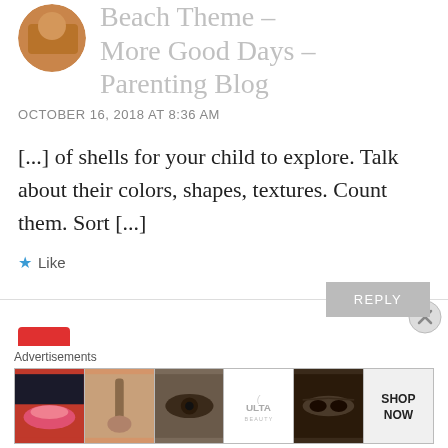Beach Theme – More Good Days – Parenting Blog
OCTOBER 16, 2018 AT 8:36 AM
[...] of shells for your child to explore. Talk about their colors, shapes, textures. Count them. Sort [...]
Like
REPLY
[Figure (screenshot): Advertisement banner showing Ulta beauty products with lip, brush, eye makeup images and SHOP NOW button]
Advertisements